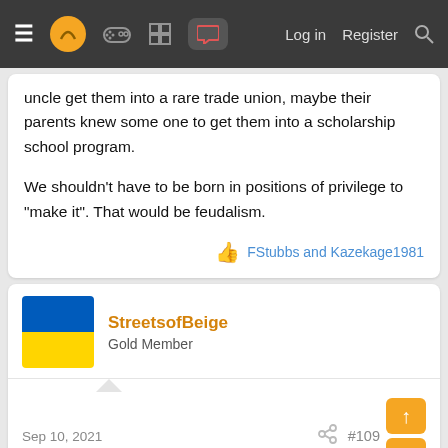Navigation bar with menu, logo, icons, Log in, Register, Search
uncle get them into a rare trade union, maybe their parents knew some one to get them into a scholarship school program.

We shouldn't have to be born in positions of privilege to "make it". That would be feudalism.
FStubbs and Kazekage1981
StreetsofBeige
Gold Member
Sep 10, 2021
#109
evolvaer said:
My initial fair take reaction is why are we blaming consumers and people who want to invest in their future by being scammed at 18